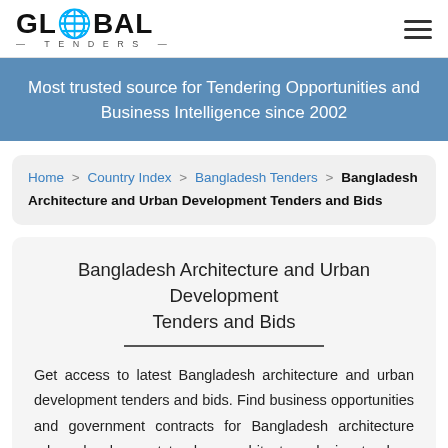GLOBAL TENDERS
Most trusted source for Tendering Opportunities and Business Intelligence since 2002
Home > Country Index > Bangladesh Tenders > Bangladesh Architecture and Urban Development Tenders and Bids
Bangladesh Architecture and Urban Development Tenders and Bids
Get access to latest Bangladesh architecture and urban development tenders and bids. Find business opportunities and government contracts for Bangladesh architecture urban development tenders, architecture design tenders, Bangladesh urban development planning tenders,